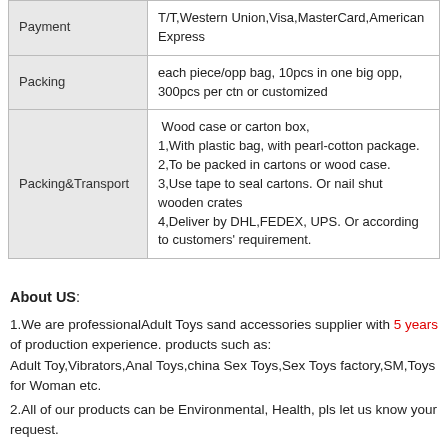|  |  |
| --- | --- |
| Payment | T/T,Western Union,Visa,MasterCard,American Express |
| Packing | each piece/opp bag, 10pcs in one big opp, 300pcs per ctn or customized |
| Packing&Transport | Wood case or carton box,
1,With plastic bag, with pearl-cotton package.
2,To be packed in cartons or wood case.
3,Use tape to seal cartons. Or nail shut wooden crates
4,Deliver by DHL,FEDEX, UPS. Or according to customers' requirement. |
About US:
1.We are professionalAdult Toys sand accessories supplier with 5 years of production experience. products such as: Adult Toy,Vibrators,Anal Toys,china Sex Toys,Sex Toys factory,SM,Toys for Woman etc.
2.All of our products can be Environmental, Health, pls let us know your request.
3.Customised designs and sizes available.